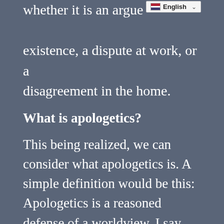whether it is an argument for existence, a dispute at work, or a disagreement in the home.
What is apologetics?
This being realized, we can consider what apologetics is. A simple definition would be this: Apologetics is a reasoned defense of a worldview. I say worldview and not religion for this reason. Religion is a set of practices. Worldview is a set of beliefs that guide our actions. Every person has a worldview because every person believes...